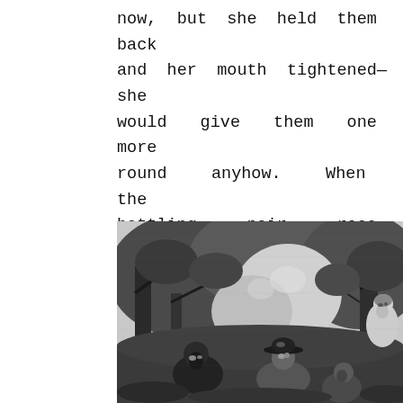now, but she held them back and her mouth tightened—she would give them one more round anyhow. When the battling pair rose Pleasant lost his head. He let loose a fox-hunting yell. He forgot his duty and the rules; he forgot the girl—he forgot all but the fight.
[Figure (illustration): Black and white illustration showing figures in a wooded forest scene. In the foreground are two or three figures including a man wearing a wide-brimmed hat. In the background to the right, a woman in light clothing is visible among the trees and foliage.]